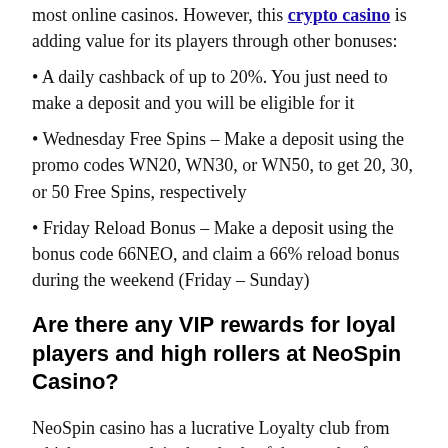most online casinos. However, this crypto casino is adding value for its players through other bonuses:
A daily cashback of up to 20%. You just need to make a deposit and you will be eligible for it
Wednesday Free Spins – Make a deposit using the promo codes WN20, WN30, or WN50, to get 20, 30, or 50 Free Spins, respectively
Friday Reload Bonus – Make a deposit using the bonus code 66NEO, and claim a 66% reload bonus during the weekend (Friday – Sunday)
Are there any VIP rewards for loyal players and high rollers at NeoSpin Casino?
NeoSpin casino has a lucrative Loyalty club from which you can claim hundreds of thousands of dollars. In order to get into it, you will only have to start playing with real money. There are 16 levels that you can reach, and each level has a better prize than the previous ones.